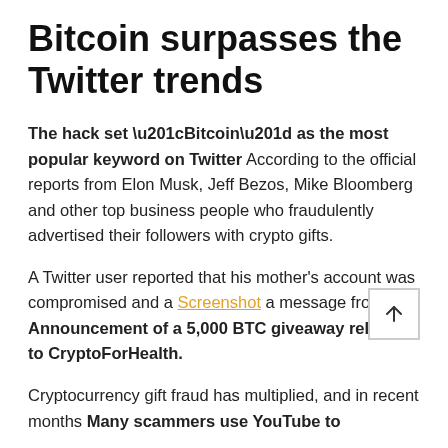Bitcoin surpasses the Twitter trends
The hack set “Bitcoin” as the most popular keyword on Twitter According to the official reports from Elon Musk, Jeff Bezos, Mike Bloomberg and other top business people who fraudulently advertised their followers with crypto gifts.
A Twitter user reported that his mother’s account was compromised and a Screenshot a message from her Announcement of a 5,000 BTC giveaway related to CryptoForHealth.
Cryptocurrency gift fraud has multiplied, and in recent months Many scammers use YouTube to